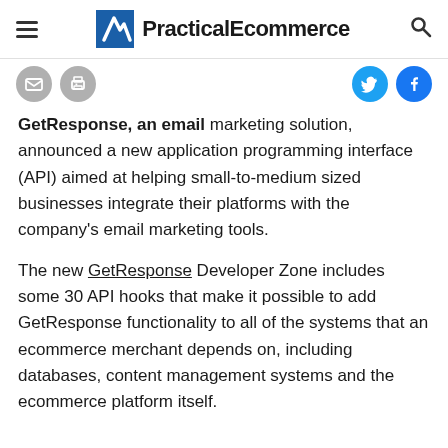PracticalEcommerce
GetResponse, an email marketing solution, announced a new application programming interface (API) aimed at helping small-to-medium sized businesses integrate their platforms with the company's email marketing tools.
The new GetResponse Developer Zone includes some 30 API hooks that make it possible to add GetResponse functionality to all of the systems that an ecommerce merchant depends on, including databases, content management systems and the ecommerce platform itself.